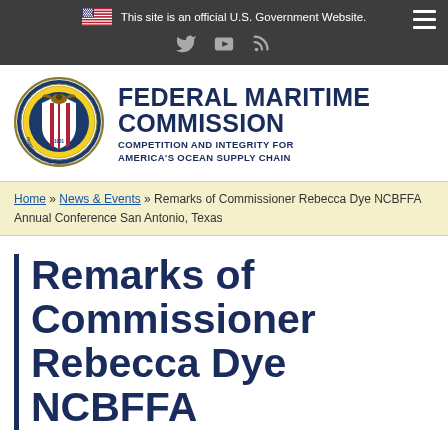This site is an official U.S. Government Website.
[Figure (logo): Federal Maritime Commission seal/logo]
FEDERAL MARITIME COMMISSION COMPETITION AND INTEGRITY FOR AMERICA'S OCEAN SUPPLY CHAIN
Home » News & Events » Remarks of Commissioner Rebecca Dye NCBFFA Annual Conference San Antonio, Texas
Remarks of Commissioner Rebecca Dye NCBFFA